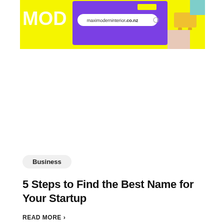[Figure (screenshot): Colorful website mockup showing a modern interior design website with yellow and purple background, a browser bar showing 'maximoderninterior.co.nz', and a yellow chair on the right side.]
Business
5 Steps to Find the Best Name for Your Startup
READ MORE →